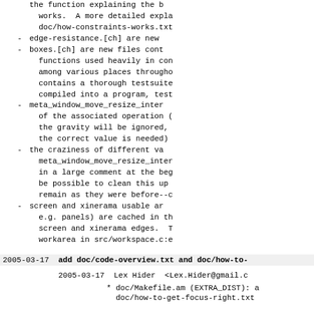the function explaining the ba works.  A more detailed expla doc/how-constraints-works.txt
edge-resistance.[ch] are new
boxes.[ch] are new files cont functions used heavily in con among various places througho contains a thorough testsuite compiled into a program, test
meta_window_move_resize_inter of the associated operation ( the gravity will be ignored, the correct value is needed)
the craziness of different va meta_window_move_resize_inter in a large comment at the beg be possible to clean this up remain as they were before--c
screen and xinerama usable ar e.g. panels) are cached in th screen and xinerama edges.  T workarea in src/workspace.c:e
2005-03-17  add doc/code-overview.txt and doc/how-to-
2005-03-17  Lex Hider  <Lex.Hider@gmail.c
* doc/Makefile.am (EXTRA_DIST): a
doc/how-to-get-focus-right.txt